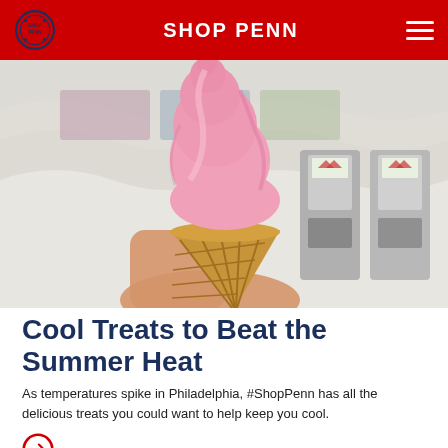SHOP PENN
[Figure (photo): A hand holding a pink strawberry soft-serve ice cream cone in a waffle cone, with soft-serve machines visible in the background inside an ice cream shop.]
Cool Treats to Beat the Summer Heat
As temperatures spike in Philadelphia, #ShopPenn has all the delicious treats you could want to help keep you cool.